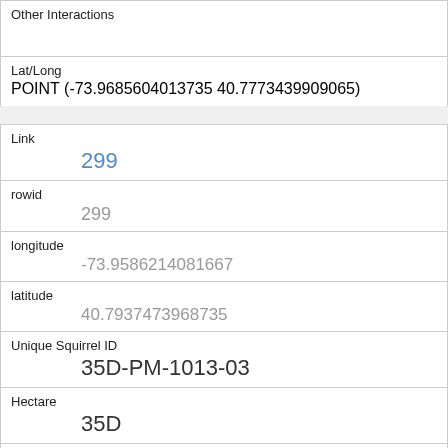Other Interactions
| Field | Value |
| --- | --- |
| Lat/Long | POINT (-73.9685604013735 40.7773439909065) |
| Link | 299 |
| rowid | 299 |
| longitude | -73.9586214081667 |
| latitude | 40.7937473968735 |
| Unique Squirrel ID | 35D-PM-1013-03 |
| Hectare | 35D |
| Shift | PM |
| Date | 10132018 |